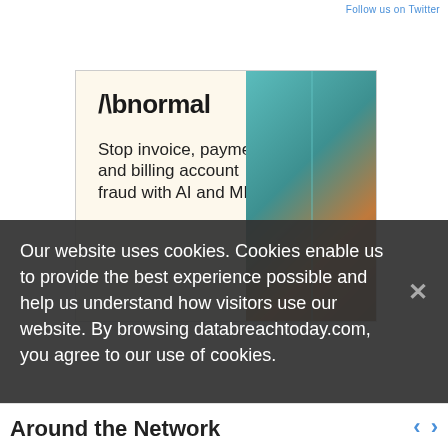Follow us on Twitter
[Figure (illustration): Abnormal Security advertisement banner. Shows the Abnormal logo and text 'Stop invoice, payment, and billing account fraud with AI and ML' with a photo of a woman's face split between warm and teal tones.]
Our website uses cookies. Cookies enable us to provide the best experience possible and help us understand how visitors use our website. By browsing databreachtoday.com, you agree to our use of cookies.
Around the Network